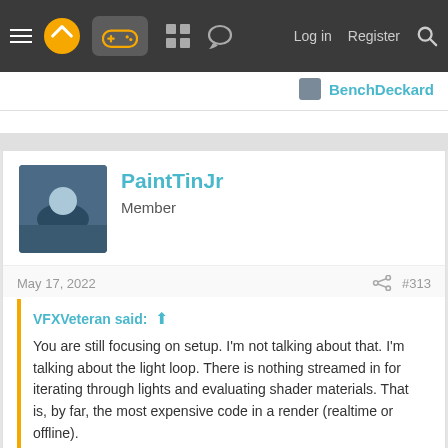Navigation bar with menu, logo, game controller icon, grid icon, chat icon, Log in, Register, Search
BenchDeckard
PaintTinJr
Member
May 17, 2022    #313
VFXVeteran said: ↑

You are still focusing on setup. I'm not talking about that. I'm talking about the light loop. There is nothing streamed in for iterating through lights and evaluating shader materials. That is, by far, the most expensive code in a render (realtime or offline).

for (each light)
{
if (ray.tracing)

Click to expand...
I fully appreciate you writing the pseudo code out to illustrate the exact part of the algorithm you believe can't be pre-